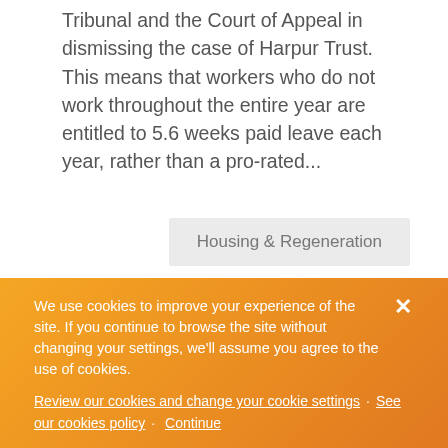Tribunal and the Court of Appeal in dismissing the case of Harpur Trust. This means that workers who do not work throughout the entire year are entitled to 5.6 weeks paid leave each year, rather than a pro-rated...
Housing & Regeneration
Read more
We use cookies to improve your experience of the site. If you continue to browse the site without changing your settings, we'll assume you agree to the use of cookies.
Review our cookies and change your cookie settings · See our cookies policy · Continue